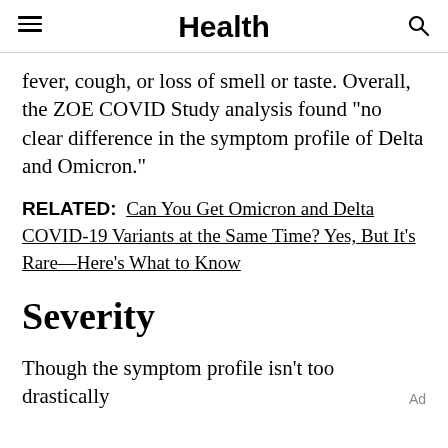Health
fever, cough, or loss of smell or taste. Overall, the ZOE COVID Study analysis found "no clear difference in the symptom profile of Delta and Omicron."
RELATED: Can You Get Omicron and Delta COVID-19 Variants at the Same Time? Yes, But It's Rare—Here's What to Know
Severity
Though the symptom profile isn't too drastically Ad